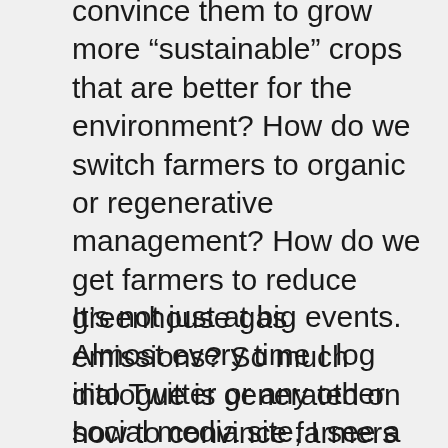convince them to grow more “sustainable” crops that are better for the environment? How do we switch farmers to organic or regenerative management? How do we get farmers to reduce greenhouse gas emissions? So much dialogue is generated on how to convince farmers to switch practices with no farmers present to engage with, or even to explain why they do the things they do.
It’s not just at big events. Almost every time I log into Twitter or any other social media site, I see a lot of attacks on modern agriculture. People with little to no understanding of science are terrified by irresponsible news media articles and video